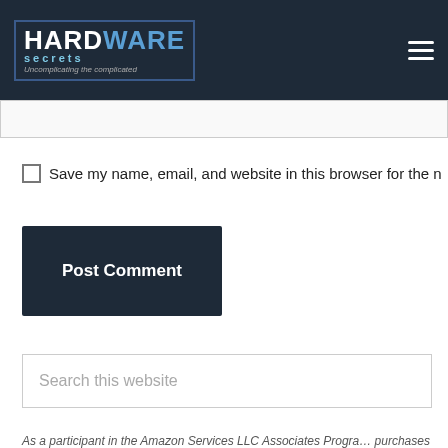Hardware Secrets — Uncomplicating the complicated
Save my name, email, and website in this browser for the n
Post Comment
Search this website
As a participant in the Amazon Services LLC Associates Progra… purchases from other retail websites.